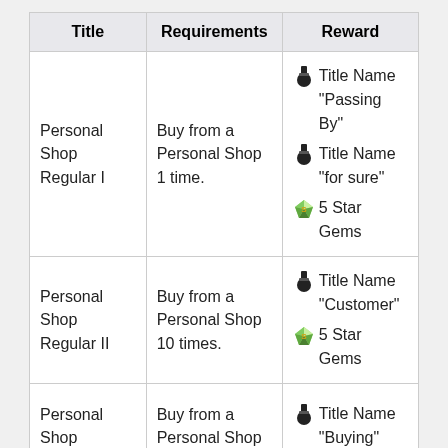| Title | Requirements | Reward |
| --- | --- | --- |
| Personal Shop Regular I | Buy from a Personal Shop 1 time. | 🏅 Title Name "Passing By"
🏅 Title Name "for sure"
💎 5 Star Gems |
| Personal Shop Regular II | Buy from a Personal Shop 10 times. | 🏅 Title Name "Customer"
💎 5 Star Gems |
| Personal Shop ... | Buy from a Personal Shop ... | 🏅 Title Name "Buying" |